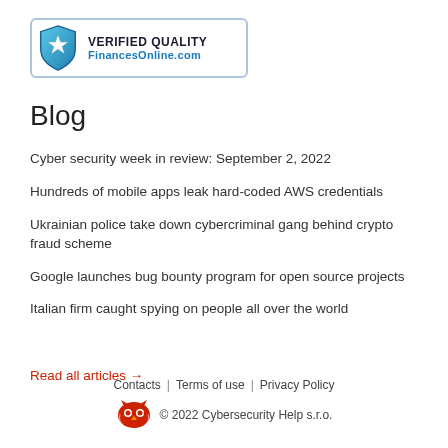[Figure (logo): Verified Quality FinancesOnline.com badge with blue shield and star icon]
Blog
Cyber security week in review: September 2, 2022
Hundreds of mobile apps leak hard-coded AWS credentials
Ukrainian police take down cybercriminal gang behind crypto fraud scheme
Google launches bug bounty program for open source projects
Italian firm caught spying on people all over the world
Read all articles →
Contacts | Terms of use | Privacy Policy
© 2022 Cybersecurity Help s.r.o.